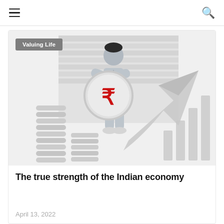≡   🔍
[Figure (illustration): A flat vector illustration of a man in grey clothing holding a large coin with an Indian Rupee symbol (₹) in red. Behind him are stacked coins on the left and an upward-trending arrow chart on the right, all in grey tones on a light background.]
Valuing Life
The true strength of the Indian economy
April 13, 2022